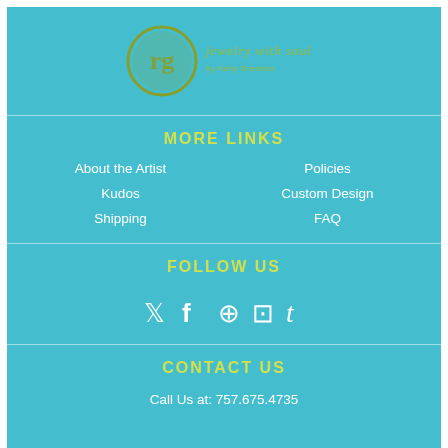[Figure (logo): Jewelry with Soul logo — circular emblem with stylized letters and olive/yellow-green text 'jewelry with soul by Kelly Drennen']
MORE LINKS
About the Artist
Policies
Kudos
Custom Design
Shipping
FAQ
FOLLOW US
[Figure (infographic): Social media icons: Twitter, Facebook, Pinterest, Instagram, Tumblr]
CONTACT US
Call Us at: 757.675.4735